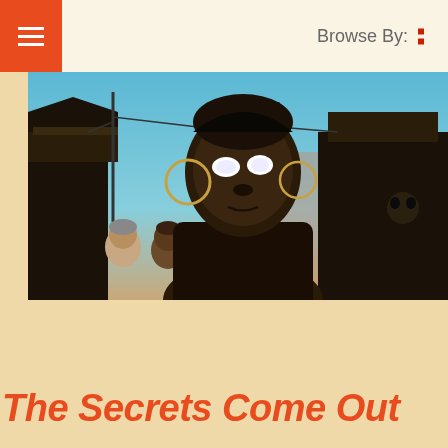Browse By:
[Figure (illustration): Comic book style illustration of a dark-skinned young woman with large hoop earrings and glowing white eyes, standing in front of a shantytown or informal settlement scene with structures and other figures visible in the background, set against a blue sky.]
The Secrets Come Out